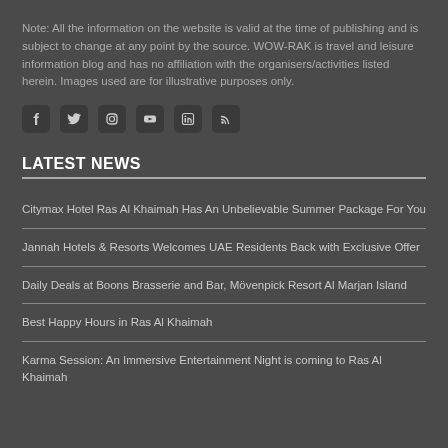Note: All the information on the website is valid at the time of publishing and is subject to change at any point by the source. WOW-RAK is travel and leisure information blog and has no affiliation with the organisers/activities listed herein. Images used are for illustrative purposes only.
[Figure (infographic): Six social media icon buttons: Facebook, Twitter, Instagram, YouTube, LinkedIn, RSS feed]
LATEST NEWS
Citymax Hotel Ras Al Khaimah Has An Unbelievable Summer Package For You
Jannah Hotels & Resorts Welcomes UAE Residents Back with Exclusive Offer
Daily Deals at Boons Brasserie and Bar, Mövenpick Resort Al Marjan Island
Best Happy Hours in Ras Al Khaimah
Karma Session: An Immersive Entertainment Night is coming to Ras Al Khaimah